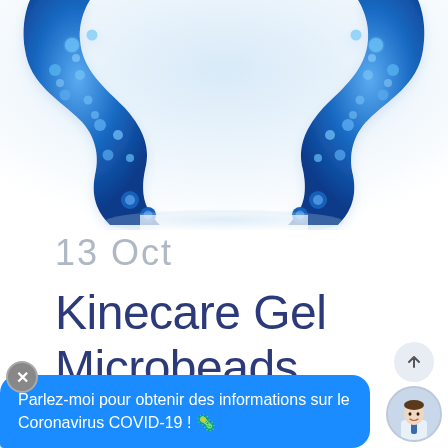[Figure (photo): Blue gel microbeads electrode pads shaped in a horseshoe/U-shape, glistening with reflection on a white/light blue background, partially cropped at top]
13 Oct
Kinecare Gel Microbeads
Parlez-moi pour obtenir des informations sur le Coronavirus COVID-19 ! 🦠